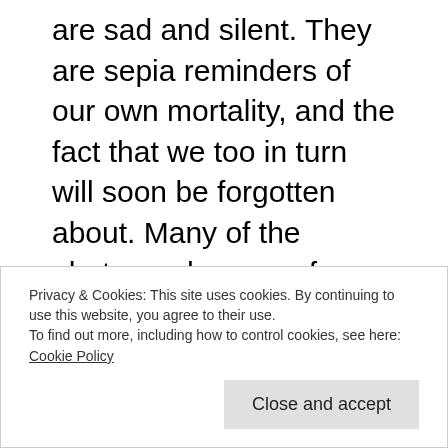are sad and silent. They are sepia reminders of our own mortality, and the fact that we too in turn will soon be forgotten about. Many of the photographs come from the heyday of the studio Cabinet Card, where the sitters' expressions were rigid from the immobility that was necessary for the length of the exposure, unaware that future generations will simply judge them to have been grim and stern. These images can
Privacy & Cookies: This site uses cookies. By continuing to use this website, you agree to their use.
To find out more, including how to control cookies, see here:
Cookie Policy
[Close and accept]